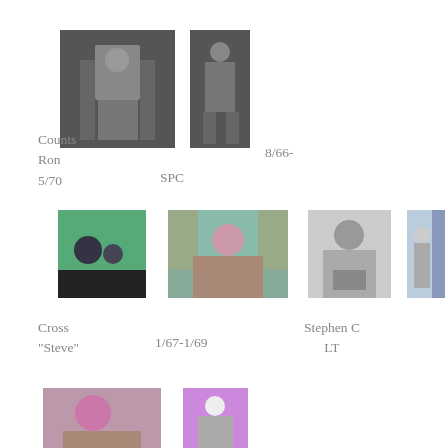[Figure (photo): Black and white photo of person in doorway]
[Figure (photo): Black and white photo of person in military uniform]
Counts Ron 5/70
8/66-
SPC
[Figure (photo): Color photo of two people outdoors]
[Figure (photo): Color photo of man in sweater outdoors]
[Figure (photo): Black and white photo of bald man holding book]
[Figure (photo): Color photo of man at podium with flag]
Cross "Steve"
1/67-1/69
Stephen C LT
[Figure (photo): Color photo of bearded man]
[Figure (photo): Color photo of young man in uniform]